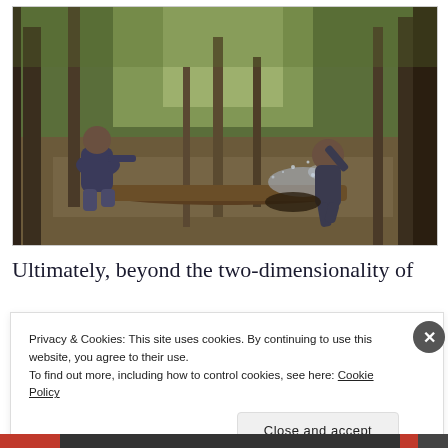[Figure (photo): Two people in a flooded forest/swamp path. One person crouching on the left, another running/jumping through water spray on the right. Trees and dappled sunlight in the background.]
Ultimately, beyond the two-dimensionality of
Privacy & Cookies: This site uses cookies. By continuing to use this website, you agree to their use.
To find out more, including how to control cookies, see here: Cookie Policy
Close and accept